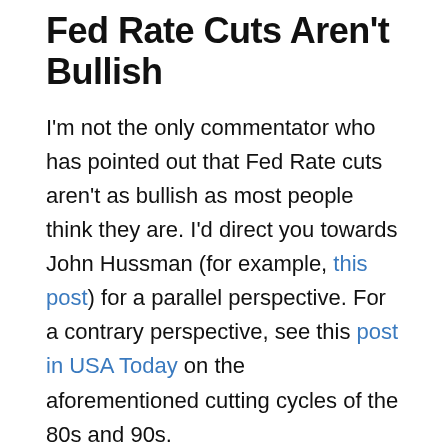Fed Rate Cuts Aren't Bullish
I'm not the only commentator who has pointed out that Fed Rate cuts aren't as bullish as most people think they are. I'd direct you towards John Hussman (for example, this post) for a parallel perspective. For a contrary perspective, see this post in USA Today on the aforementioned cutting cycles of the 80s and 90s.
Either way, it's not cut and dry. If we're currently in a recession – something we only know in retrospect, by the way – the cut isn't going to help. If investors are still bullish and